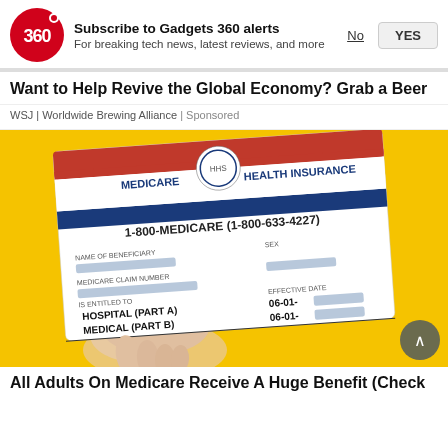Subscribe to Gadgets 360 alerts — For breaking tech news, latest reviews, and more
Want to Help Revive the Global Economy? Grab a Beer
WSJ | Worldwide Brewing Alliance | Sponsored
[Figure (photo): A hand holding a Medicare Health Insurance card against a yellow background. The card shows MEDICARE HEALTH INSURANCE, 1-800-MEDICARE (1-800-633-4227), NAME OF BENEFICIARY (blurred), MEDICARE CLAIM NUMBER (blurred), IS ENTITLED TO HOSPITAL (PART A) 06-01- (blurred), MEDICAL (PART B) 06-01- (blurred).]
All Adults On Medicare Receive A Huge Benefit (Check